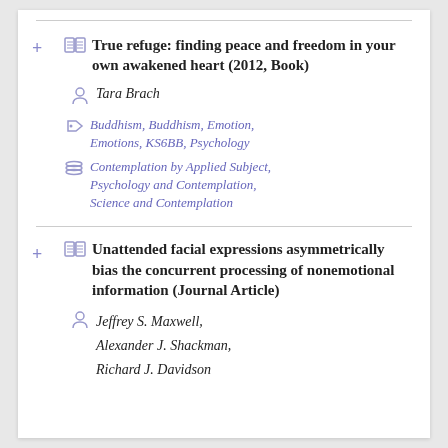True refuge: finding peace and freedom in your own awakened heart (2012, Book)
Tara Brach
Buddhism, Buddhism, Emotion, Emotions, KS6BB, Psychology
Contemplation by Applied Subject, Psychology and Contemplation, Science and Contemplation
Unattended facial expressions asymmetrically bias the concurrent processing of nonemotional information (Journal Article)
Jeffrey S. Maxwell, Alexander J. Shackman, Richard J. Davidson